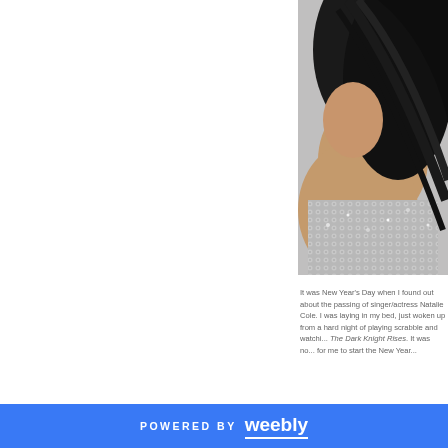[Figure (photo): A woman with long flowing black hair, wearing a silver/sequin outfit, photographed against a gray background. The photo shows her from approximately shoulder height up, with hair tossed dynamically.]
It was New Year's Day when I found out about the passing of singer/actress Natalie Cole. I was laying in my bed, just woken up from a hard night of playing scrabble and watching The Dark Knight Rises. It was not the way for me to start the New Year...
POWERED BY weebly